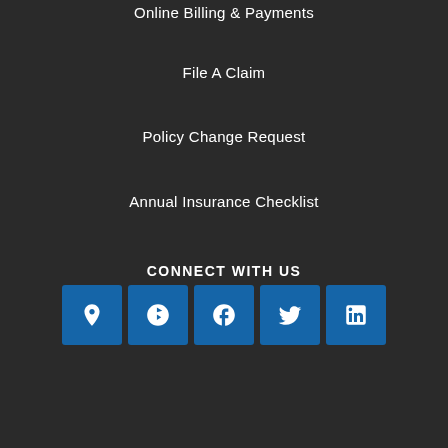Online Billing & Payments
File A Claim
Policy Change Request
Annual Insurance Checklist
CONNECT WITH US
[Figure (infographic): Five social media icon buttons: location pin, Yelp, Facebook, Twitter, LinkedIn — all on blue square backgrounds]